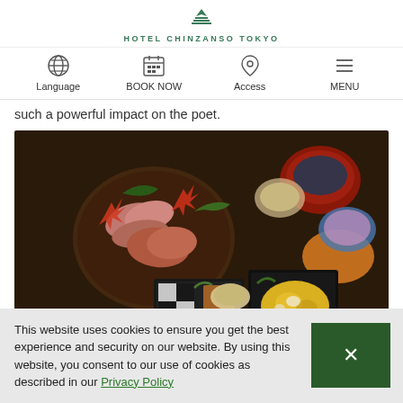Hotel Chinzanso Tokyo — navigation: Language, BOOK NOW, Access, MENU
such a powerful impact on the poet.
[Figure (photo): Japanese kaiseki multi-course meal spread on a dark table, featuring sashimi, wagyu beef, various small dishes, a yellow pumpkin-based dish in a lacquer box, and garnished with autumn maple leaves.]
This website uses cookies to ensure you get the best experience and security on our website. By using this website, you consent to our use of cookies as described in our Privacy Policy